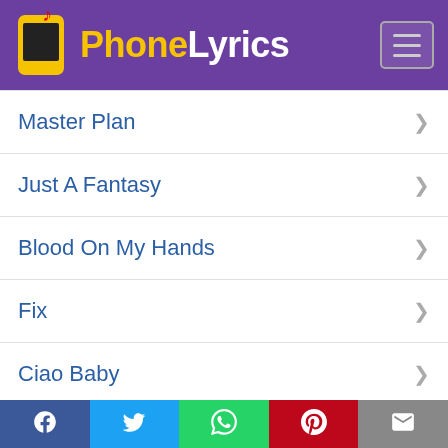[Figure (logo): PhoneLyrics app logo with phone icon and musical note, text reads PhoneLyrics in yellow and white on purple background]
Master Plan
Just A Fantasy
Blood On My Hands
Fix
Ciao Baby
Dead End Queen
Trending Artists
Jibbs
Facebook | Twitter | WhatsApp | Pinterest | Email